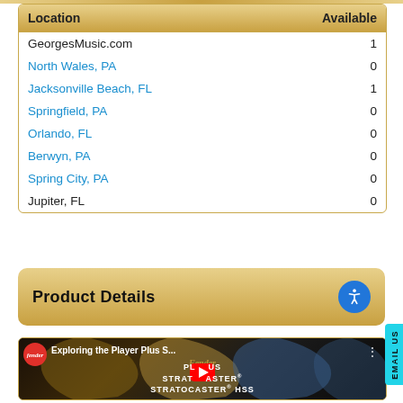| Location | Available |
| --- | --- |
| GeorgesMusic.com | 1 |
| North Wales, PA | 0 |
| Jacksonville Beach, FL | 1 |
| Springfield, PA | 0 |
| Orlando, FL | 0 |
| Berwyn, PA | 0 |
| Spring City, PA | 0 |
| Jupiter, FL | 0 |
Product Details
[Figure (screenshot): YouTube video thumbnail showing Fender Stratocaster guitars with title 'Exploring the Player Plus S...' and YouTube play button. Text on video: PLAYER PLUS, STRATOCASTER, STRATOCASTER HSS with Fender logo.]